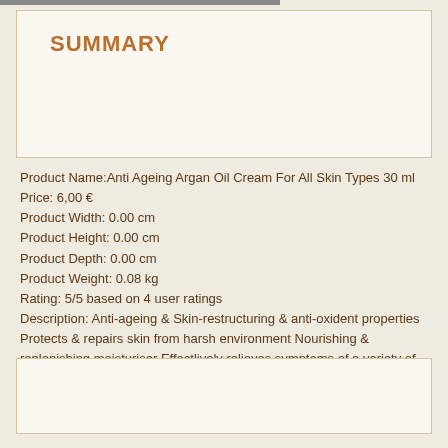SUMMARY
Product Name:Anti Ageing Argan Oil Cream For All Skin Types 30 ml
Price: 6,00 €
Product Width: 0.00 cm
Product Height: 0.00 cm
Product Depth: 0.00 cm
Product Weight: 0.08 kg
Rating: 5/5 based on 4 user ratings
Description: Anti-ageing & Skin-restructuring & anti-oxident properties Protects & repairs skin from harsh environment Nourishing & replenishing moisturiser Effectlively relieves symptoms of a variety of skin conditions such as Exzema & Dermatitis Organic & Not Tested On Animals. Sold exclusively in Morocco
6 OTHER PRODUCTS IN THE SAME CATEGORY: